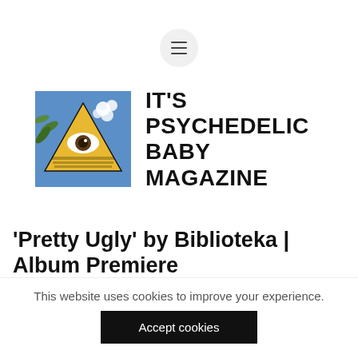[Figure (logo): Hamburger menu button — three horizontal lines in a circular grey background]
[Figure (logo): It's Psychedelic Baby Magazine logo: illustrated triangle with all-seeing eye on blue/yellow background, next to bold uppercase text 'IT'S PSYCHEDELIC BABY MAGAZINE']
'Pretty Ugly' by Biblioteka | Album Premiere
This website uses cookies to improve your experience.
Accept cookies